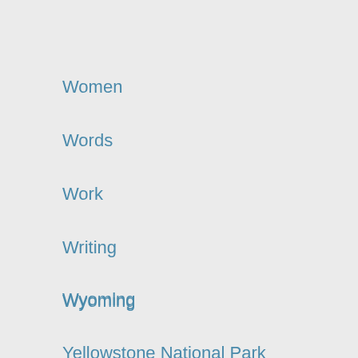Women
Words
Work
Writing
Wyoming
Yellowstone National Park
Zion National Park